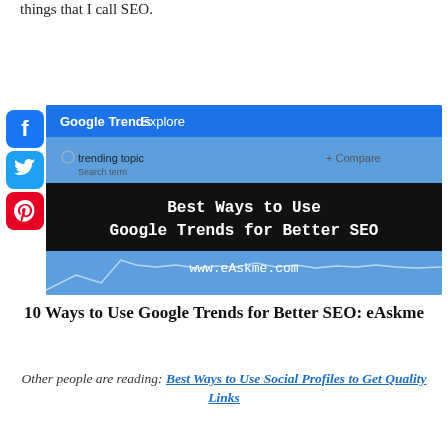things that I call SEO.
[Figure (screenshot): Screenshot of Google Trends interface showing 'trending topic' search with a line chart. A black banner overlay reads 'Best Ways to Use Google Trends for Better SEO' with 'www.eAskme.com' below. Social sharing buttons (Facebook, Twitter, Pinterest) visible on the left.]
10 Ways to Use Google Trends for Better SEO: eAskme
Other people are reading: Best Ways to Use Social Profiles to Get Quality Links